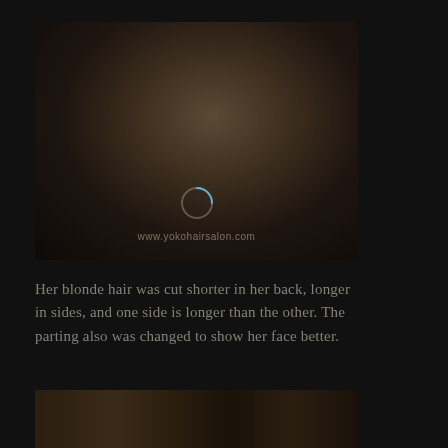[Figure (photo): Dark, dimly lit photo of a person with blonde hair, appears to be taken in a salon or similar setting. A circular spinner/loading indicator overlay is visible over the image, and a watermark URL appears at the bottom of the photo.]
Her blonde hair was cut shorter in her back, longer in sides, and one side is longer than the other. The parting also was changed to show her face better.
[Figure (photo): Partially visible dark photo at the bottom of the page, showing what appears to be a room interior with warm tones.]